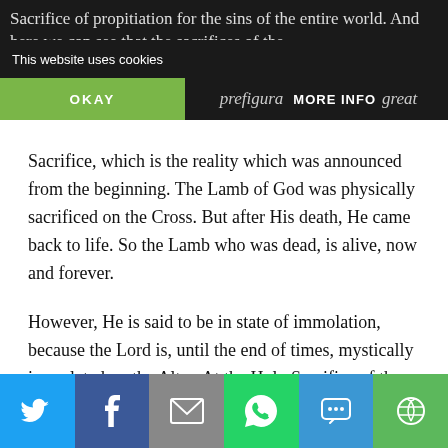Sacrifice of propitiation for the sins of the entire world. And here we can see that the sacrifices of the … prefiguration … great
[Figure (screenshot): Cookie consent overlay with 'This website uses cookies' text, OKAY button (green), and MORE INFO button (dark)]
Sacrifice, which is the reality which was announced from the beginning. The Lamb of God was physically sacrificed on the Cross. But after His death, He came back to life. So the Lamb who was dead, is alive, now and forever.
However, He is said to be in state of immolation, because the Lord is, until the end of times, mystically immolated on the Altar. At the Holy Sacrifice of the Mass the Lord is present in state of immolation because of the double consecration: the body is
[Figure (infographic): Social share toolbar with Twitter, Facebook, Email, WhatsApp, SMS, and More buttons]